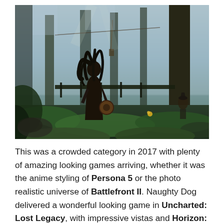[Figure (photo): A video game screenshot from a dark, atmospheric forest scene. A female character with long dreadlocks is seen from behind, holding a round object, standing in lush green undergrowth among tall trees. In the background are structures, other figures, and misty forest lighting.]
This was a crowded category in 2017 with plenty of amazing looking games arriving, whether it was the anime styling of Persona 5 or the photo realistic universe of Battlefront II. Naughty Dog delivered a wonderful looking game in Uncharted: Lost Legacy, with impressive vistas and Horizon: Zero Dawn's lush, beautiful expanses were